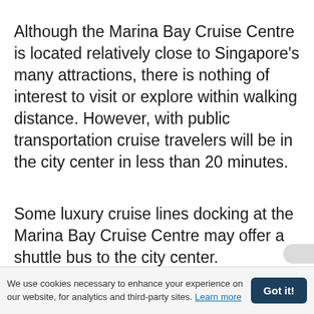Although the Marina Bay Cruise Centre is located relatively close to Singapore’s many attractions, there is nothing of interest to visit or explore within walking distance. However, with public transportation cruise travelers will be in the city center in less than 20 minutes.
Some luxury cruise lines docking at the Marina Bay Cruise Centre may offer a shuttle bus to the city center.
We use cookies necessary to enhance your experience on our website, for analytics and third-party sites. Learn more  Got it!